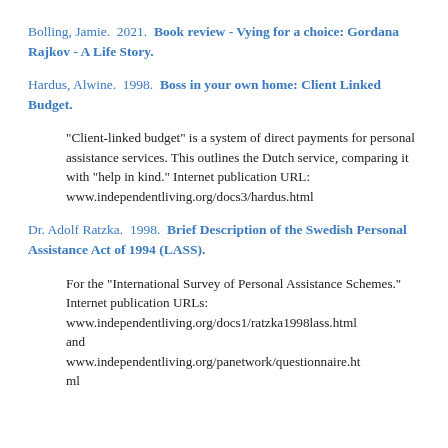Bolling, Jamie.  2021.  Book review - Vying for a choice: Gordana Rajkov - A Life Story.
Hardus, Alwine.  1998.  Boss in your own home: Client Linked Budget.
"Client-linked budget" is a system of direct payments for personal assistance services. This outlines the Dutch service, comparing it with "help in kind." Internet publication URL: www.independentliving.org/docs3/hardus.html
Dr. Adolf Ratzka.  1998.  Brief Description of the Swedish Personal Assistance Act of 1994 (LASS).
For the "International Survey of Personal Assistance Schemes." Internet publication URLs: www.independentliving.org/docs1/ratzka1998lass.html and www.independentliving.org/panetwork/questionnaire.html